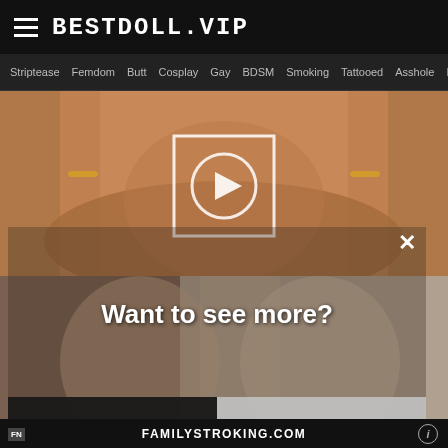BESTDOLL.VIP
Striptease Femdom Butt Cosplay Gay BDSM Smoking Tattooed Asshole Fetish
[Figure (screenshot): Adult video thumbnail showing partial nudity with a play button overlay (square frame with circle play icon)]
[Figure (screenshot): Modal popup over adult content background with text 'Want to see more?' and two buttons: 'Yes!' in green and 'no' in gray]
FAMILYSTROKING.COM